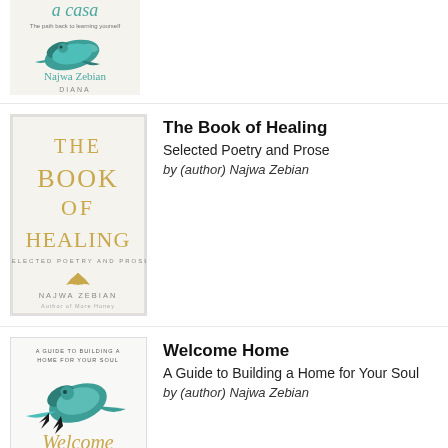[Figure (illustration): Partial book cover of 'a casa' by Najwa Zebian, showing teal bird illustration and text 'a casa', 'The path back to learning yourself', 'Najwa Zebian', 'Diana']
[Figure (illustration): Book cover of 'The Book of Healing: Selected Poetry and Prose' by Najwa Zebian with gold lettering on cream background and shell motif]
The Book of Healing
Selected Poetry and Prose
by (author) Najwa Zebian
[Figure (illustration): Book cover of 'Welcome Home: A Guide to Building a Home for Your Soul' by Najwa Zebian, showing teal bird and gold script title]
Welcome Home
A Guide to Building a Home for Your Soul
by (author) Najwa Zebian